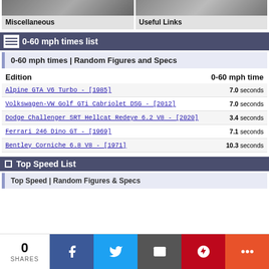[Figure (photo): Two thumbnail images: left shows bolts/nuts (Miscellaneous), right shows a gear/chain (Useful Links)]
0-60 mph times list
0-60 mph times | Random Figures and Specs
| Edition | 0-60 mph time |
| --- | --- |
| Alpine GTA V6 Turbo - [1985] | 7.0 seconds |
| Volkswagen-VW Golf GTi Cabriolet DSG - [2012] | 7.0 seconds |
| Dodge Challenger SRT Hellcat Redeye 6.2 V8 - [2020] | 3.4 seconds |
| Ferrari 246 Dino GT - [1969] | 7.1 seconds |
| Bentley Corniche 6.8 V8 - [1971] | 10.3 seconds |
Top Speed List
Top Speed | Random Figures & Specs
[Figure (infographic): Social share bar at bottom: 0 SHARES, Facebook, Twitter, Email, Pinterest, More buttons]